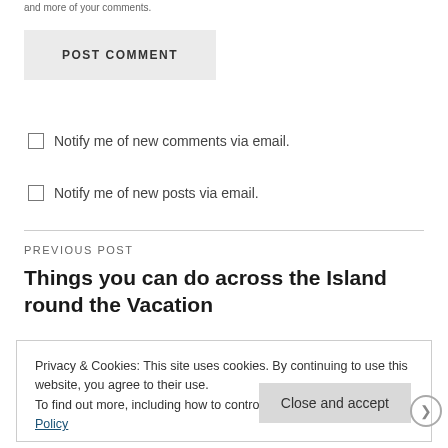and more of your comments.
POST COMMENT
Notify me of new comments via email.
Notify me of new posts via email.
PREVIOUS POST
Things you can do across the Island round the Vacation
Privacy & Cookies: This site uses cookies. By continuing to use this website, you agree to their use.
To find out more, including how to control cookies, see here: Cookie Policy
Close and accept